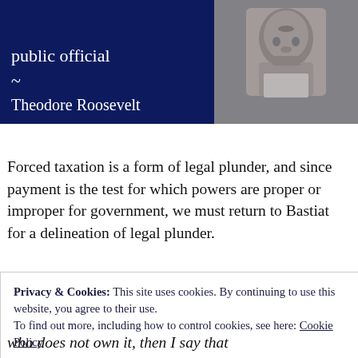[Figure (illustration): Dark navy blue banner with white text quote ending with tilde and 'Theodore Roosevelt' attribution on the left, and a black-and-white portrait photo of Theodore Roosevelt on the right.]
Forced taxation is a form of legal plunder, and since payment is the test for which powers are proper or improper for government, we must return to Bastiat for a delineation of legal plunder.
Privacy & Cookies: This site uses cookies. By continuing to use this website, you agree to their use.
To find out more, including how to control cookies, see here: Cookie Policy
Close and accept
who does not own it, then I say that